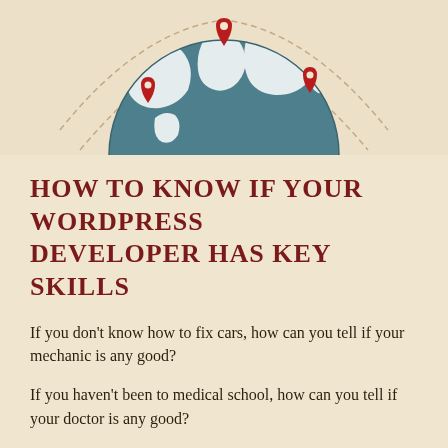[Figure (illustration): Globe illustration with location pin markers and decorative dotted orbit lines, shown as a half-globe from above with teal/dark cyan coloring and white continent shapes, with red map pins]
HOW TO KNOW IF YOUR WORDPRESS DEVELOPER HAS KEY SKILLS
If you don't know how to fix cars, how can you tell if your mechanic is any good?
If you haven't been to medical school, how can you tell if your doctor is any good?
This is the expertise problem.  Non-experts aren't good at identifying experts.
Because of this, we tend to evaluate people on the